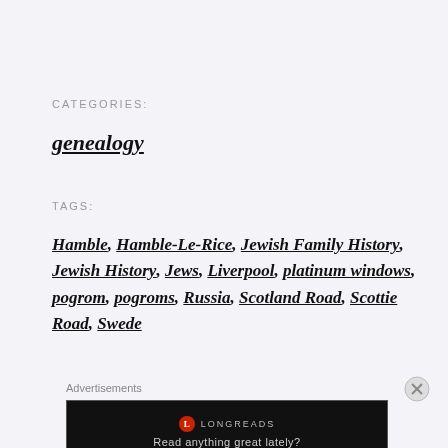CATEGORIES:
genealogy
TAGS:
Hamble, Hamble-Le-Rice, Jewish Family History, Jewish History, Jews, Liverpool, platinum windows, pogrom, pogroms, Russia, Scotland Road, Scottie Road, Swede
Advertisements
[Figure (other): Longreads advertisement banner: red circle logo with L, text LONGREADS, tagline 'Read anything great lately?']